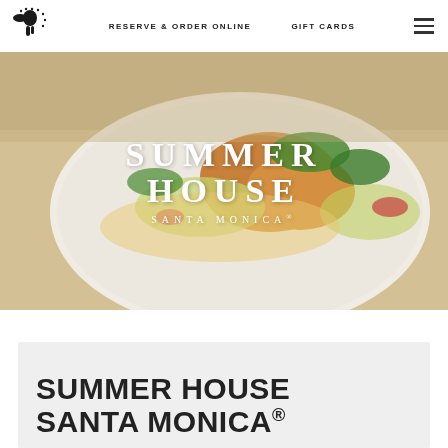Summer House Santa Monica — Reserve & Order Online | Gift Cards | Menu
[Figure (photo): Hero photograph of a plate of fried fish tacos with cabbage slaw and fresh cilantro, on a white surface. Overlaid with the Summer House Santa Monica logo text in white serif letters.]
SUMMER HOUSE SANTA MONICA®